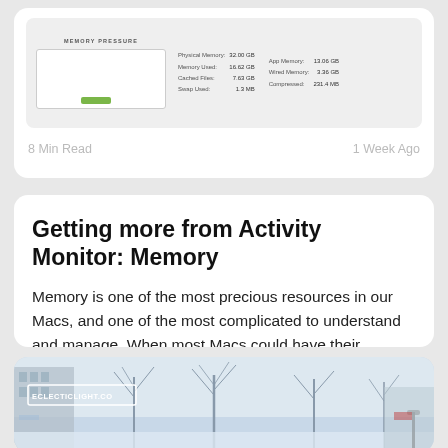[Figure (screenshot): Activity Monitor memory pressure graph screenshot showing Physical Memory: 32.00 GB, Memory Used: 16.62 GB, Cached Files: 7.63 GB, Swap Used: 1.3 MB, App Memory: 13.06 GB, Wired Memory: 3.36 GB, Compressed: 231.4 MB]
8 Min Read
1 Week Ago
Getting more from Activity Monitor: Memory
Memory is one of the most precious resources in our Macs, and one of the most complicated to understand and manage. When most Macs could have their
[Figure (photo): Painting of a winter street scene with bare trees and snow, labeled ECLECTICLIGHT.CO]